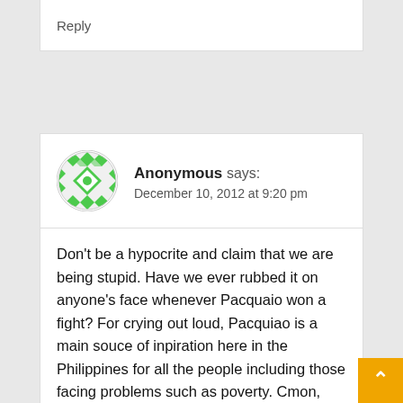Reply
[Figure (illustration): Green geometric avatar icon for Anonymous commenter]
Anonymous says:
December 10, 2012 at 9:20 pm
Don't be a hypocrite and claim that we are being stupid. Have we ever rubbed it on anyone's face whenever Pacquaio won a fight? For crying out loud, Pacquiao is a main souce of inpiration here in the Philippines for all the people including those facing problems such as poverty. Cmon, you have to understand the situation in here because this hurts us(filipinos) emotionally especially after seeing our souce of inspiration fall down like